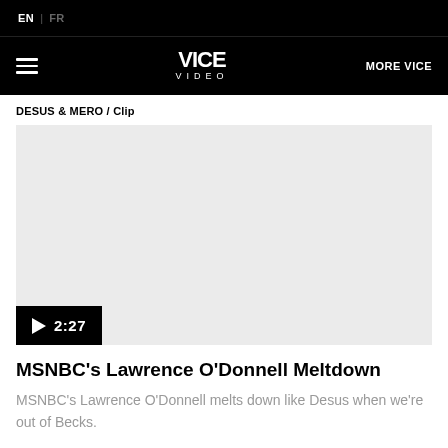EN | FR
VICE VIDEO — MORE VICE
DESUS & MERO / Clip
[Figure (screenshot): Video player with light grey background and a play button overlay showing duration 2:27]
MSNBC's Lawrence O'Donnell Meltdown
MSNBC's Lawrence O'Donnell melts down like Desus when we're out of Becks.